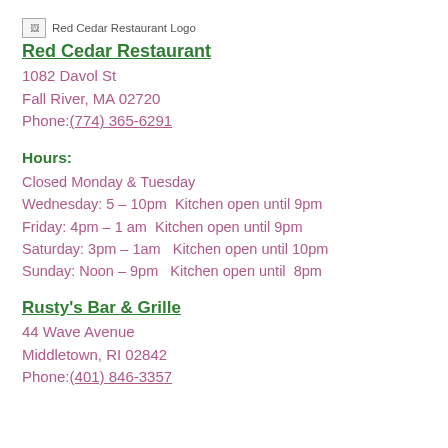[Figure (logo): Red Cedar Restaurant Logo image placeholder]
Red Cedar Restaurant
1082 Davol St
Fall River, MA 02720
Phone:(774) 365-6291
Hours:
Closed Monday & Tuesday
Wednesday: 5 – 10pm  Kitchen open until 9pm
Friday: 4pm – 1 am  Kitchen open until 9pm
Saturday: 3pm – 1am   Kitchen open until 10pm
Sunday: Noon – 9pm   Kitchen open until  8pm
Rusty's Bar & Grille
44 Wave Avenue
Middletown, RI 02842
Phone:(401) 846-3357